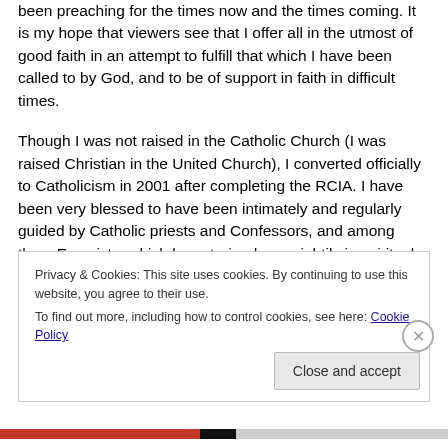been preaching for the times now and the times coming. It is my hope that viewers see that I offer all in the utmost of good faith in an attempt to fulfill that which I have been called to by God, and to be of support in faith in difficult times.
Though I was not raised in the Catholic Church (I was raised Christian in the United Church), I converted officially to Catholicism in 2001 after completing the RCIA. I have been very blessed to have been intimately and regularly guided by Catholic priests and Confessors, and among them Exorcists, which have trained me mightily in spiritual
Privacy & Cookies: This site uses cookies. By continuing to use this website, you agree to their use.
To find out more, including how to control cookies, see here: Cookie Policy
Close and accept